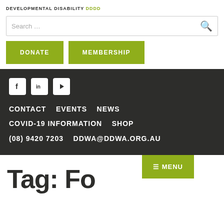DEVELOPMENTAL DISABILITY DDDD
Search ...
DONATE
MEMBERSHIP
[Figure (illustration): Social media icons: Facebook, LinkedIn, YouTube]
CONTACT   EVENTS   NEWS
COVID-19 INFORMATION   SHOP
(08) 9420 7203   DDWA@DDWA.ORG.AU
≡ MENU
Tag: Fo...